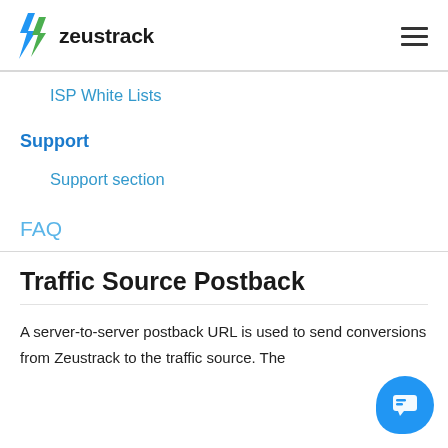zeustrack
ISP White Lists
Support
Support section
FAQ
Traffic Source Postback
A server-to-server postback URL is used to send conversions from Zeustrack to the traffic source. The